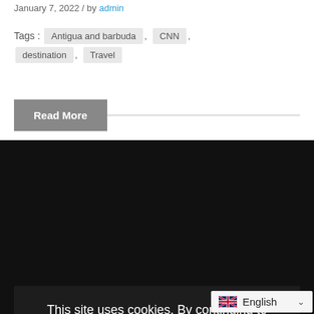January 7, 2022 / by admin
Tags: Antigua and barbuda , CNN , destination , Travel
Read More
This site uses cookies. By continuing to browse the site, you are agreeing to our use of cookies.
Close   Learn More   Modal
English